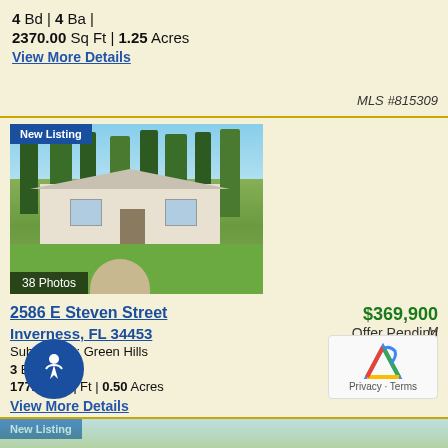4 Bd | 4 Ba |
2370.00 Sq Ft | 1.25 Acres
View More Details
MLS #815309
[Figure (photo): Exterior photo of a white single-story home with trees in front yard, green lawn, labeled New Listing with 38 Photos]
2586 E Steven Street
$369,900
Inverness, FL 34453
Offer Pending
Subdivision: Green Hills
3 Bd | 2 Ba |
1772.00 Sq Ft | 0.50 Acres
View More Details
New Listing